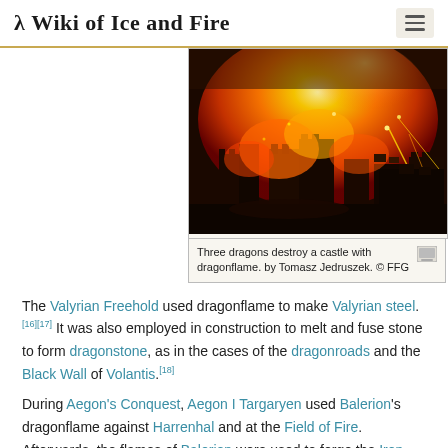A Wiki of Ice and Fire
[Figure (illustration): Three dragons destroy a castle with dragonflame, orange and red fire engulfs stone towers, dramatic fantasy art by Tomasz Jedruszek for FFG]
Three dragons destroy a castle with dragonflame. by Tomasz Jedruszek. © FFG
The Valyrian Freehold used dragonflame to make Valyrian steel.[16][17] It was also employed in construction to melt and fuse stone to form dragonstone, as in the cases of the dragonroads and the Black Wall of Volantis.[18]
During Aegon's Conquest, Aegon I Targaryen used Balerion's dragonflame against Harrenhal and at the Field of Fire. Afterwards, the flames of Balerion were used to forge the Iron Throne.[19] Aegon and his sister-wife Visenya used the flames of their dragons